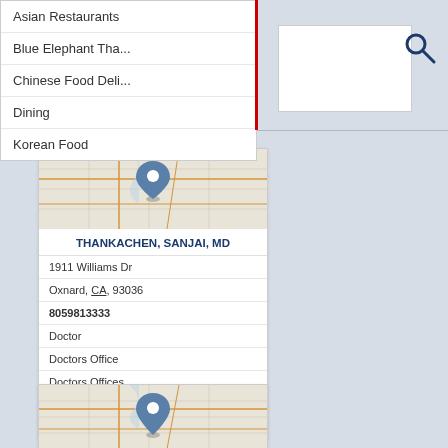Asian Restaurants
Blue Elephant Tha...
Chinese Food Deli...
Dining
Korean Food
[Figure (screenshot): Search input box with magnifying glass icon]
[Figure (map): Street map with location pin marker]
THANKACHEN, SANJAI, MD
1911 Williams Dr
Oxnard, CA, 93036
8059813333
Doctor
Doctors Office
Doctors Offices
Family Physicians
Medicaid Doctors
[Figure (map): Street map with location pin marker (second card, partial)]